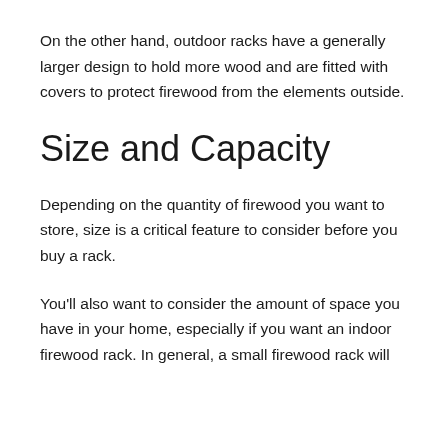On the other hand, outdoor racks have a generally larger design to hold more wood and are fitted with covers to protect firewood from the elements outside.
Size and Capacity
Depending on the quantity of firewood you want to store, size is a critical feature to consider before you buy a rack.
You'll also want to consider the amount of space you have in your home, especially if you want an indoor firewood rack. In general, a small firewood rack will